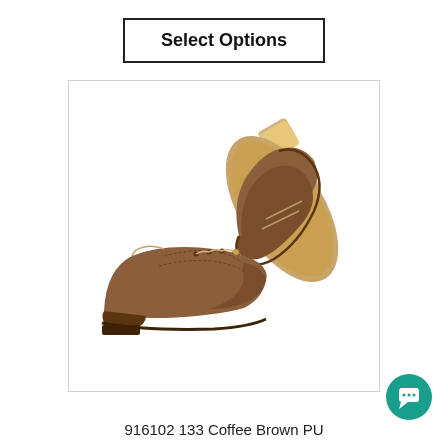Select Options
[Figure (photo): Two coffee brown PU leather dance shoes (model 916102 133) shown side by side — one upright showing the side profile with laces, and one tipped showing the suede sole and heel.]
916102 133 Coffee Brown PU